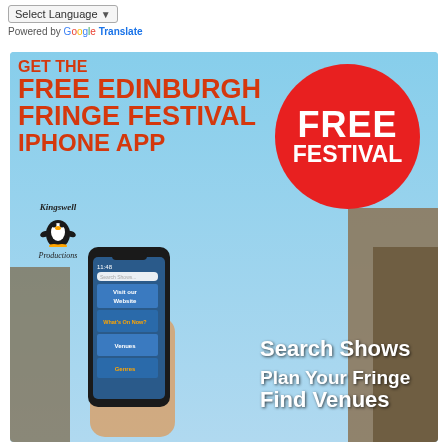Select Language — Powered by Google Translate
[Figure (illustration): Advertisement for the Free Edinburgh Fringe Festival iPhone App by Kingswell Productions. Features bold orange/red text on a light blue sky background with Edinburgh buildings. A red circle contains 'FREE FESTIVAL'. A hand holds an iPhone showing app screens (Visit our Website, What's On Now?, Venues, Genres). Right side text: 'Search Shows', 'Plan Your Fringe', 'Find Venues'.]